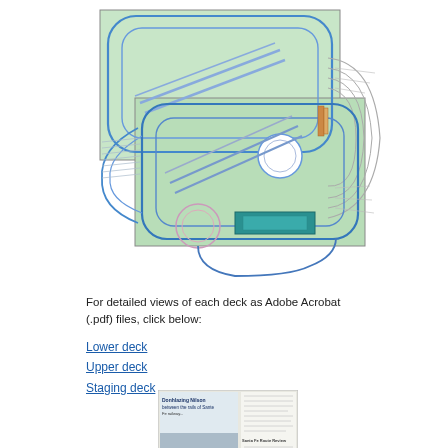[Figure (engineering-diagram): Model railroad track plan showing multiple overlapping deck layouts with green table surfaces, blue track lines, curved loops, turnouts, tunnels, and staging areas arranged in a complex multi-level configuration.]
For detailed views of each deck as Adobe Acrobat (.pdf) files, click below:
Lower deck
Upper deck
Staging deck
[Figure (photo): Thumbnail image of a magazine or book article page showing a locomotive on a track with text columns and a title related to model railroading.]